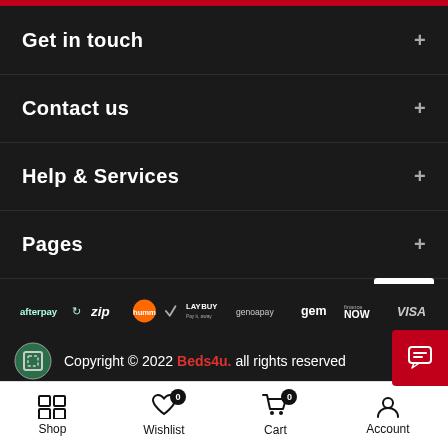Get in touch
Contact us
Help & Services
Pages
[Figure (logo): Payment logos: afterpay, zip, humm, laybuy, genoapay, gem, finance now, mastercard, visa]
Copyright © 2022 Beds4u. all rights reserved
Shop  Wishlist 0  Cart 0  Account